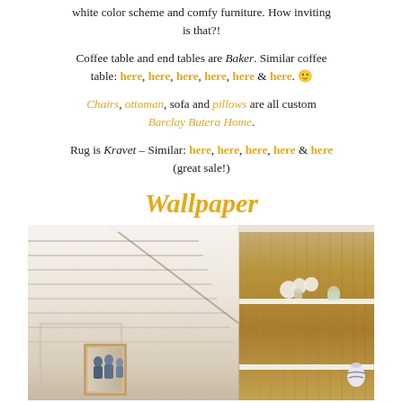white color scheme and comfy furniture. How inviting is that?!
Coffee table and end tables are Baker. Similar coffee table: here, here, here, here, here & here. 🙂
Chairs, ottoman, sofa and pillows are all custom Barclay Butera Home.
Rug is Kravet – Similar: here, here, here, here & here (great sale!)
Wallpaper
[Figure (photo): Interior room photo showing shiplap ceiling on the left and built-in shelving with grasscloth wallpaper on the right, with white flowers in vases and a framed family photo]